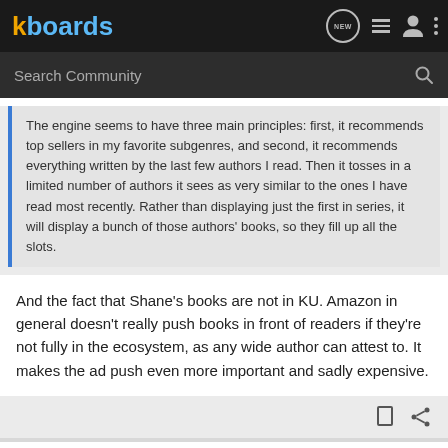kboards — navigation bar with search
The engine seems to have three main principles: first, it recommends top sellers in my favorite subgenres, and second, it recommends everything written by the last few authors I read. Then it tosses in a limited number of authors it sees as very similar to the ones I have read most recently. Rather than displaying just the first in series, it will display a bunch of those authors' books, so they fill up all the slots.
And the fact that Shane's books are not in KU. Amazon in general doesn't really push books in front of readers if they're not fully in the ecosystem, as any wide author can attest to. It makes the ad push even more important and sadly expensive.